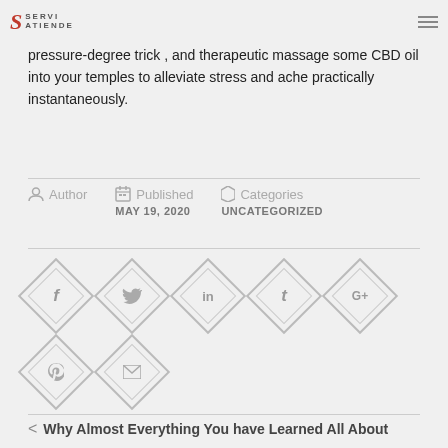SERVI ATIENDE logo and hamburger menu
every CBD and anti-inflammatory turmeric—natures Advil. If you'll likewise you foria could attempt our editor-authorised pressure-degree trick , and therapeutic massage some CBD oil into your temples to alleviate stress and ache practically instantaneously.
Author  Published MAY 19, 2020  Categories UNCATEGORIZED
[Figure (infographic): Social sharing icons in diamond shapes: Facebook (f), Twitter (bird/t), LinkedIn (in), Tumblr (t), Google+ (G+), Pinterest (p), Email (envelope)]
< Why Almost Everything You have Learned All About